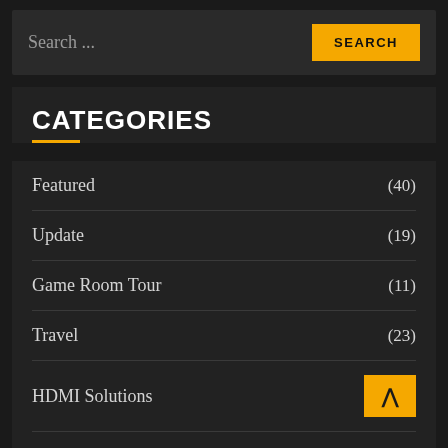Search ...
CATEGORIES
Featured (40)
Update (19)
Game Room Tour (11)
Travel (23)
HDMI Solutions
System Reviews (24)